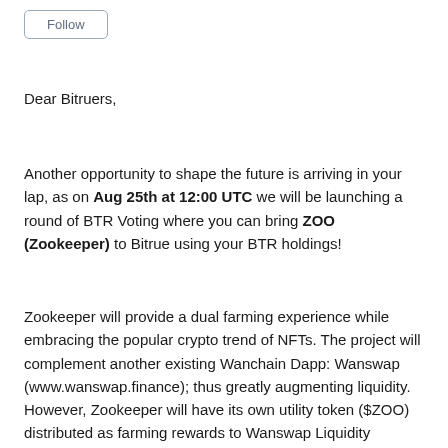Follow
Dear Bitruers,
Another opportunity to shape the future is arriving in your lap, as on Aug 25th at 12:00 UTC we will be launching a round of BTR Voting where you can bring ZOO (Zookeeper) to Bitrue using your BTR holdings!
Zookeeper will provide a dual farming experience while embracing the popular crypto trend of NFTs. The project will complement another existing Wanchain Dapp: Wanswap (www.wanswap.finance); thus greatly augmenting liquidity. However, Zookeeper will have its own utility token ($ZOO) distributed as farming rewards to Wanswap Liquidity Providers (LPs), who stake their WSLP (Wan Swap Liquidity Provider tokens).